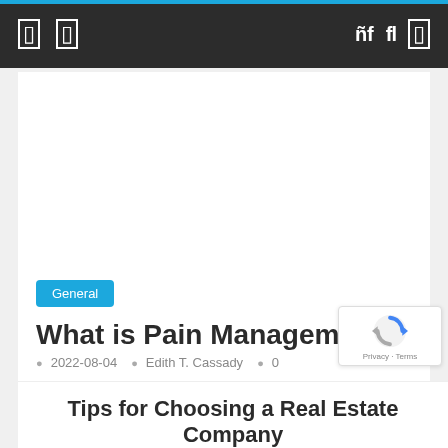Navigation bar with menu icons and search
[Figure (screenshot): White image area placeholder within article card]
General
What is Pain Management?
2022-08-04   Edith T. Cassady   0
The study of pain prevention, diagnosis, and treatment focus on pain management, a branch of medicine that incorporates complementary and
[Figure (logo): reCAPTCHA badge with spinning arrows logo and Privacy · Terms text]
Tips for Choosing a Real Estate Company